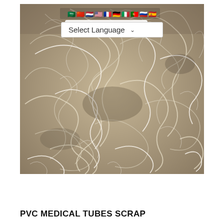[Figure (photo): Close-up photograph of a large tangled mass of translucent/clear PVC medical tubes scrap, with beige and off-white coloring, forming a dense jumbled pile of flexible tubing and thin strands.]
PVC MEDICAL TUBES SCRAP